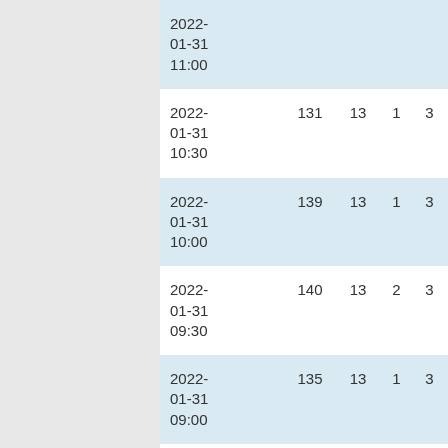| Date/Time | Col1 | Col2 | Col3 | Col4 |
| --- | --- | --- | --- | --- |
| 2022-01-31 11:00 |  |  |  |  |
| 2022-01-31 10:30 | 131 | 13 | 1 | 3 |
| 2022-01-31 10:00 | 139 | 13 | 1 | 3 |
| 2022-01-31 09:30 | 140 | 13 | 2 | 3 |
| 2022-01-31 09:00 | 135 | 13 | 1 | 3 |
| 2022-01-31 08:30 | 137 | 13 | 1 | 2 |